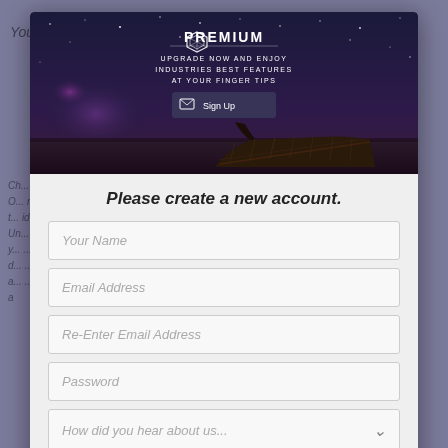You have to upgrade to perform this action
[Figure (screenshot): Premium upgrade banner with dark starry night sky background, a weathered wooden boat, geometric logo icon, text reading 'OCI PREMIUM UPGRADE NOW AND ENJOY INDUSTRIES BEST FEATURES AT YOUR FINGER TIPS' and a Sign Up button]
Please create a new account.
Your Name (form input placeholder)
Email Address (form input placeholder)
Re-Enter Email Address (form input placeholder)
Password (form input placeholder)
How did you hear about us... (dropdown)
By clicking Sign Up, you agree to the Terms and Conditions